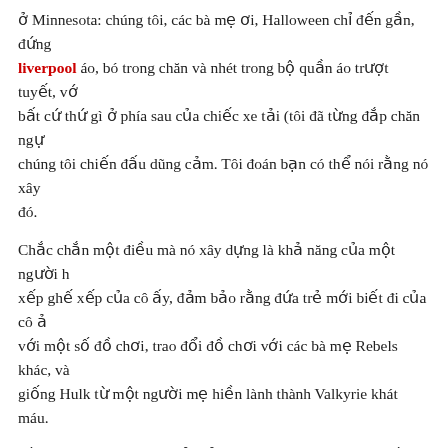ở Minnesota: chúng tôi, các bà mẹ ơi, Halloween chỉ đến gần, đứng liverpool áo, bó trong chăn và nhét trong bộ quần áo trượt tuyết, vớ bất cứ thứ gì ở phía sau của chiếc xe tải (tôi đã từng đắp chăn ngự chúng tôi chiến đấu dũng cảm. Tôi đoán bạn có thể nói rằng nó xây đó.
Chắc chắn một điều mà nó xây dựng là khả năng của một người h xếp ghế xếp của cô ấy, đảm bảo rằng đứa trẻ mới biết đi của cô ả với một số đồ chơi, trao đổi đồ chơi với các bà mẹ Rebels khác, và giống Hulk từ một người mẹ hiền lành thành Valkyrie khát máu.
Rằng việc một nhạc sĩ cổ điển, cựu sinh viên trường quyến rũ, mộ thờ chân chinh có thể biến thành một gã điên cuồng, la hét bên lề, n đấu như thể đang tự mình mang quả bóng, thực sự khiến tôi hoang ai? Đó có phải là một liên kết trở lại các nữ hoàng cổ đại, giống nh đẩy mưu mô, tham gia quá mức của Alexander Đại đế, sẽ không dù một cách tàn nhẫn sự vươn lên vinh quang của con trai bà trước các chất của các bà mẹ là thúc đẩy con cái của chúng ta như thế số ph nó?